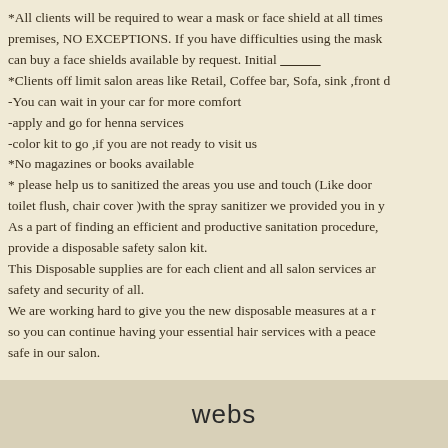*All clients will be required to wear a mask or face shield at all times premises, NO EXCEPTIONS. If you have difficulties using the mask can buy a face shields available by request. Initial ________
*Clients off limit salon areas like Retail, Coffee bar, Sofa, sink ,front d
-You can wait in your car for more comfort
-apply and go for henna services
-color kit to go ,if you are not ready to visit us
*No magazines or books available
* please help us to sanitized the areas you use and touch (Like door toilet flush, chair cover )with the spray sanitizer we provided you in y As a part of finding an efficient and productive sanitation procedure, provide a disposable safety salon kit.
This Disposable supplies are for each client and all salon services ar safety and security of all.
We are working hard to give you the new disposable measures at a r so you can continue having your essential hair services with a peace safe in our salon.
webs